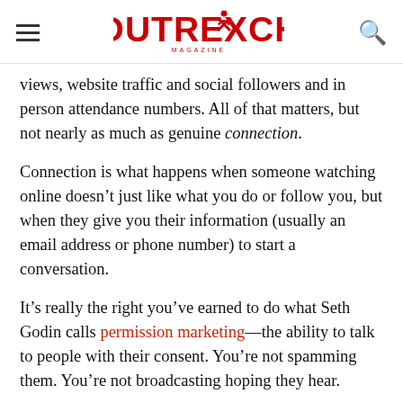Outreach Magazine
views, website traffic and social followers and in person attendance numbers. All of that matters, but not nearly as much as genuine connection.
Connection is what happens when someone watching online doesn’t just like what you do or follow you, but when they give you their information (usually an email address or phone number) to start a conversation.
It’s really the right you’ve earned to do what Seth Godin calls permission marketing—the ability to talk to people with their consent. You’re not spamming them. You’re not broadcasting hoping they hear.